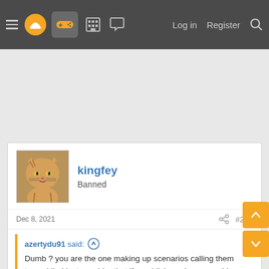Navigation bar with menu, logo, controller icon, forum icons, Log in, Register, Search
[Figure (screenshot): Gray advertisement/content area below navigation]
kingfey
Banned
Dec 8, 2021  #253
azertydu91 said:
Dumb ? you are the one making up scenarios calling them true while I just consider that if a publisher mismanage his studios the blame should land on the general studio manager.
In a nutshell you make shit up when I use logic ...And between us two, I'm the dumb one...Great it makes sense.I guess that based on how you think you probably need someone in the morning to